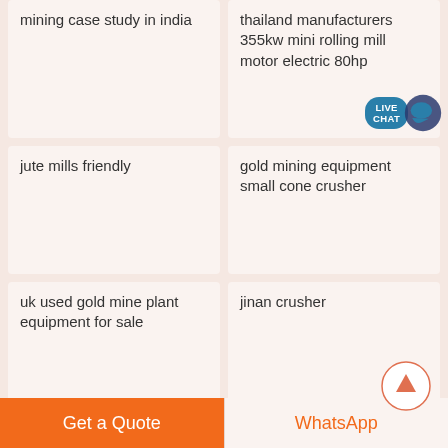mining case study in india
thailand manufacturers 355kw mini rolling mill motor electric 80hp
jute mills friendly
gold mining equipment small cone crusher
uk used gold mine plant equipment for sale
jinan crusher
how to separate ball mill
combinaison decortiq moulin broyeur
solidworks simulation pdf
miners stone chest enter
Get a Quote
WhatsApp